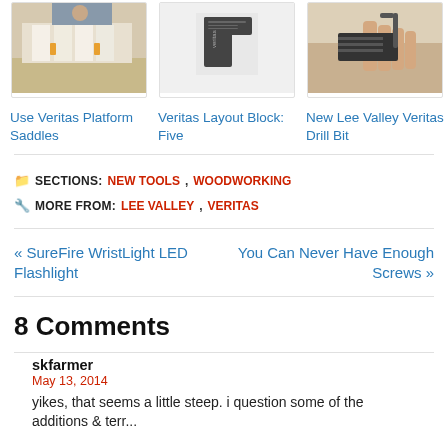[Figure (photo): Three product cards showing woodworking tools: (1) Veritas Platform Saddles on a workbench, (2) Veritas Layout Block dark metal square tool, (3) New Lee Valley Veritas Drill Bit held by hand]
Use Veritas Platform Saddles
Veritas Layout Block: Five
New Lee Valley Veritas Drill Bit
SECTIONS: NEW TOOLS, WOODWORKING
MORE FROM: LEE VALLEY, VERITAS
« SureFire WristLight LED Flashlight
You Can Never Have Enough Screws »
8 Comments
skfarmer
May 13, 2014
yikes, that seems a little steep. i question some of the additions &terr...